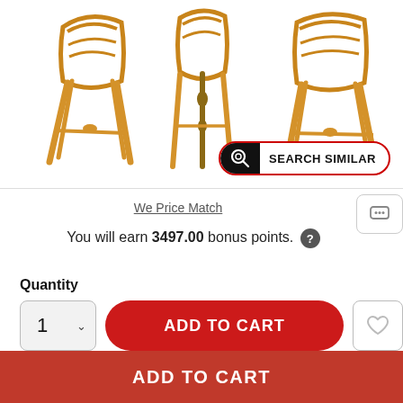[Figure (photo): Product photo showing wooden chairs (rattan/bamboo style) on white background with a 'Search Similar' button overlay]
We Price Match
You will earn 3497.00 bonus points. ?
Quantity
ADD TO CART
View Entire Collection
ADD TO CART